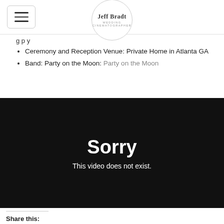Jeff Bradt Wedding Cinematographer
Ceremony and Reception Venue: Private Home in Atlanta GA
Band: Party on the Moon: Party on the Moon
[Figure (screenshot): Embedded video player showing error message: Sorry - This video does not exist.]
Share this: